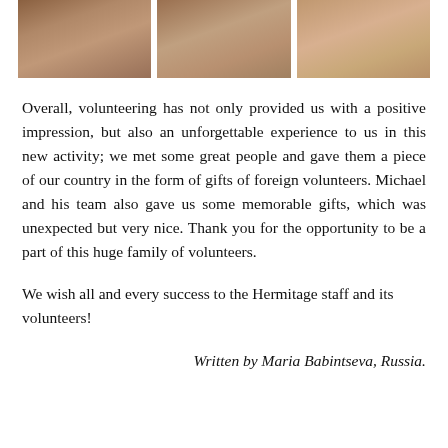[Figure (photo): Three side-by-side photographs showing people working at a table with documents and small objects]
Overall, volunteering has not only provided us with a positive impression, but also an unforgettable experience to us in this new activity; we met some great people and gave them a piece of our country in the form of gifts of foreign volunteers. Michael and his team also gave us some memorable gifts, which was unexpected but very nice. Thank you for the opportunity to be a part of this huge family of volunteers.
We wish all and every success to the Hermitage staff and its volunteers!
Written by Maria Babintseva, Russia.